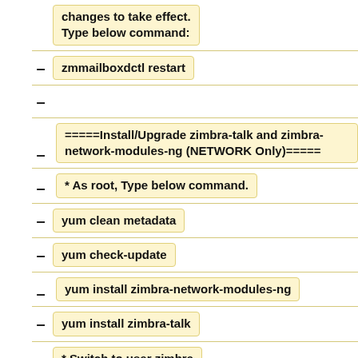changes to take effect. Type below command:
zmmailboxdctl restart
=====Install/Upgrade zimbra-talk and zimbra-network-modules-ng (NETWORK Only)=====
* As root, Type below command.
yum clean metadata
yum check-update
yum install zimbra-network-modules-ng
yum install zimbra-talk
* Switch to user zimbra